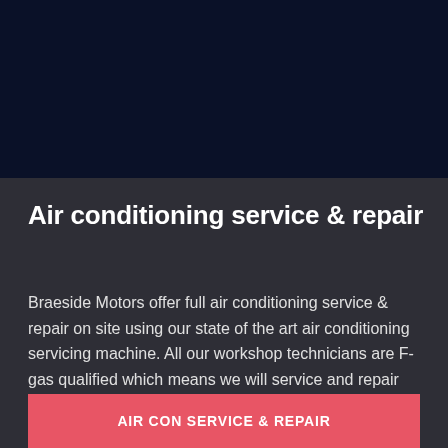[Figure (photo): Dark navy blue background area at top of page, likely containing a vehicle or air conditioning related image]
Air conditioning service & repair
Braeside Motors offer full air conditioning service & repair on site using our state of the art air conditioning servicing machine. All our workshop technicians are F-gas qualified which means we will service and repair your vehicle air conditioning system to a high standard.
AIR CON SERVICE & REPAIR